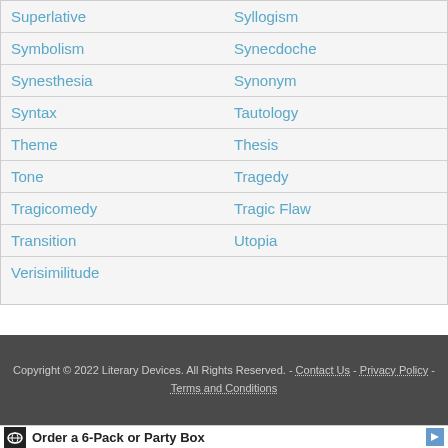| Superlative | Syllogism |
| Symbolism | Synecdoche |
| Synesthesia | Synonym |
| Syntax | Tautology |
| Theme | Thesis |
| Tone | Tragedy |
| Tragicomedy | Tragic Flaw |
| Transition | Utopia |
| Verisimilitude |  |
Copyright © 2022 Literary Devices. All Rights Reserved. - Contact Us - Privacy Policy - Terms and Conditions
[Figure (other): Advertisement banner showing 'Order a 6-Pack or Party Box' with a logo icon and blue arrow button. Below is a health ad: 'Warning Signs of Amyloidosis Shouldn't Be Ignored.']